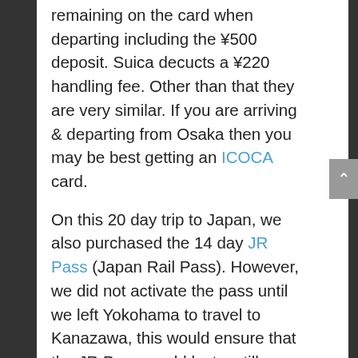remaining on the card when departing including the ¥500 deposit. Suica decucts a ¥220 handling fee. Other than that they are very similar. If you are arriving & departing from Osaka then you may be best getting an ICOCA card.
On this 20 day trip to Japan, we also purchased the 14 day JR Pass (Japan Rail Pass). However, we did not activate the pass until we left Yokohama to travel to Kanazawa, this would ensure that the JR Pass would last us till our departure date. Depending on the length of your trip and places you're visiting it may or may not be worth purchasing. You can get a 7, 14 or 21-day pass.  You can use the JR Pass